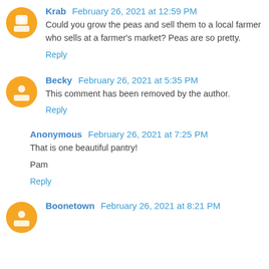Krab February 26, 2021 at 12:59 PM
Could you grow the peas and sell them to a local farmer who sells at a farmer's market? Peas are so pretty.
Reply
Becky February 26, 2021 at 5:35 PM
This comment has been removed by the author.
Reply
Anonymous February 26, 2021 at 7:25 PM
That is one beautiful pantry!
Pam
Reply
Boonetown February 26, 2021 at 8:21 PM